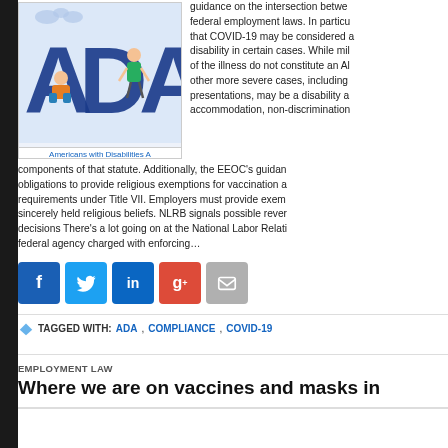[Figure (illustration): ADA (Americans with Disabilities Act) illustration with large blue letters A, D, A and cartoon figures, with caption 'Americans with Disabilities A']
guidance on the intersection between federal employment laws. In particular that COVID-19 may be considered a disability in certain cases. While mild of the illness do not constitute an AD other more severe cases, including presentations, may be a disability a accommodation, non-discrimination components of that statute. Additionally, the EEOC's guidan obligations to provide religious exemptions for vaccination a requirements under Title VII. Employers must provide exem sincerely held religious beliefs. NLRB signals possible rever decisions There's a lot going on at the National Labor Relati federal agency charged with enforcing…
[Figure (infographic): Social share buttons: Facebook (blue), Twitter (light blue), LinkedIn (dark blue), Google+ (red), Email (grey)]
TAGGED WITH: ADA, COMPLIANCE, COVID-19
EMPLOYMENT LAW
Where we are on vaccines and masks in